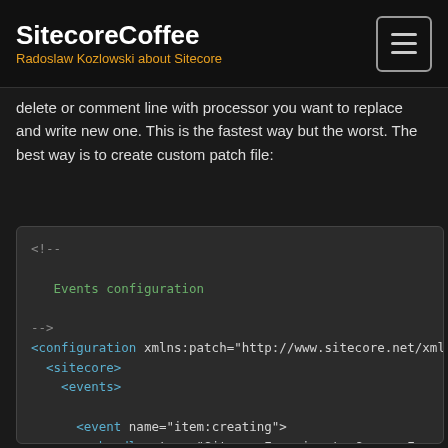SitecoreCoffee – Radoslaw Kozlowski about Sitecore
delete or comment line with processor you want to replace and write new one. This is the fastest way but the worst. The best way is to create custom patch file:
[Figure (screenshot): XML code block showing a Sitecore patch configuration file with events configuration comment, configuration element with xmlns:patch attribute, sitecore, events, event elements for item:creating and item:saved with handler elements referencing SitecoreExperiments.Common classes]